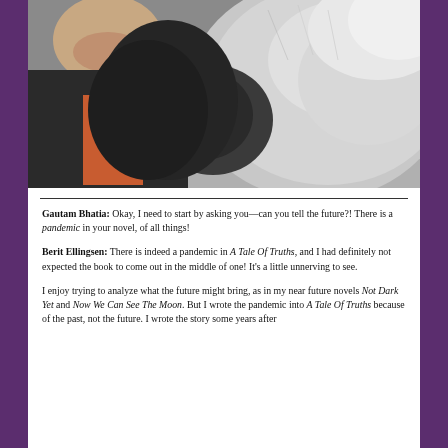[Figure (photo): A person smiling while a large animal (goat or cow) nuzzles their face, black and white/grey animal close-up, person wearing black jacket and pink vest]
Gautam Bhatia: Okay, I need to start by asking you—can you tell the future?! There is a pandemic in your novel, of all things!
Berit Ellingsen: There is indeed a pandemic in A Tale Of Truths, and I had definitely not expected the book to come out in the middle of one! It's a little unnerving to see.
I enjoy trying to analyze what the future might bring, as in my near future novels Not Dark Yet and Now We Can See The Moon. But I wrote the pandemic into A Tale Of Truths because of the past, not the future. I wrote the story some years after